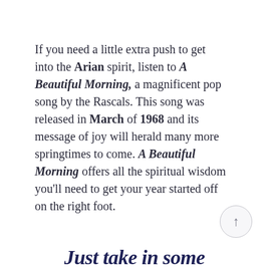If you need a little extra push to get into the Arian spirit, listen to A Beautiful Morning, a magnificent pop song by the Rascals. This song was released in March of 1968 and its message of joy will herald many more springtimes to come. A Beautiful Morning offers all the spiritual wisdom you'll need to get your year started off on the right foot.
Just take in some